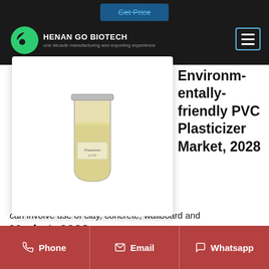HENAN GO BIOTECH — one decade manufacturing and exporting experience
Environmentally-friendly PVC Plasticizer Market, 2028
[Figure (photo): Product photo: a glass jar/beaker containing a pale yellow liquid chemical (PVC plasticizer), set on a white background inside a card with drop shadow]
The global environmentally-friendly PVC plasticizer market is anticipated to grow at a significant CAGR during the forecast period. Plasticizers help meet the requirements of can involve use of clay, concrete, wallboard and
Phone   Email   Whatsapp